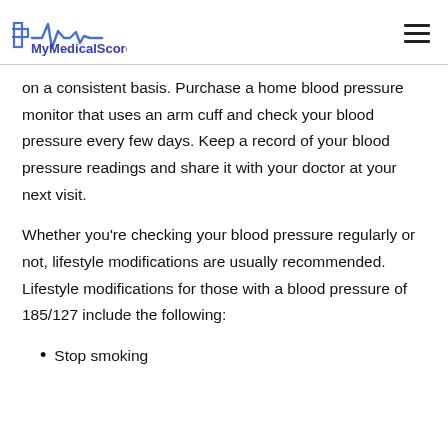MyMedicalScore
on a consistent basis. Purchase a home blood pressure monitor that uses an arm cuff and check your blood pressure every few days. Keep a record of your blood pressure readings and share it with your doctor at your next visit.
Whether you’re checking your blood pressure regularly or not, lifestyle modifications are usually recommended. Lifestyle modifications for those with a blood pressure of 185/127 include the following:
Stop smoking